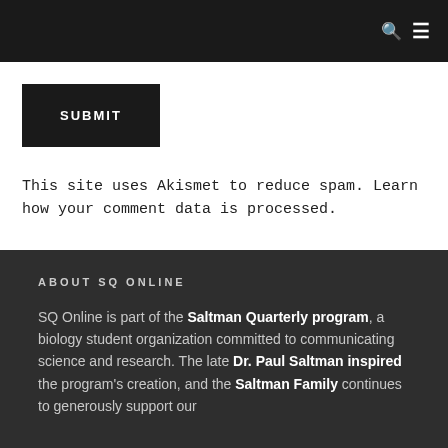SUBMIT
This site uses Akismet to reduce spam. Learn how your comment data is processed.
ABOUT SQ ONLINE
SQ Online is part of the Saltman Quarterly program, a biology student organization committed to communicating science and research. The late Dr. Paul Saltman inspired the program's creation, and the Saltman Family continues to generously support our